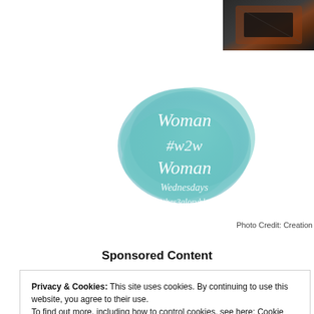[Figure (photo): Small dark photo of a bag/purse partially visible in top-right corner]
[Figure (logo): Watercolor teal/mint blob logo with white script text reading: Woman #w2w Woman Wednesdays @thes3gloryblog]
Photo Credit: Creation
Sponsored Content
Privacy & Cookies: This site uses cookies. By continuing to use this website, you agree to their use. To find out more, including how to control cookies, see here: Cookie Policy
Close and accept